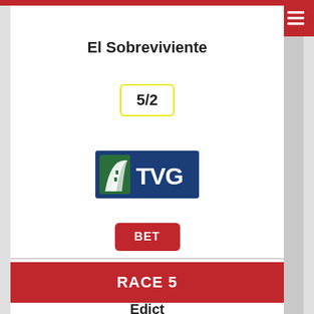El Sobreviviente
5/2
[Figure (logo): TVG logo — dark blue rectangle with a green and white racetrack arc icon on the left and white bold text 'TVG' on the right]
BET
RACE 5
Edict